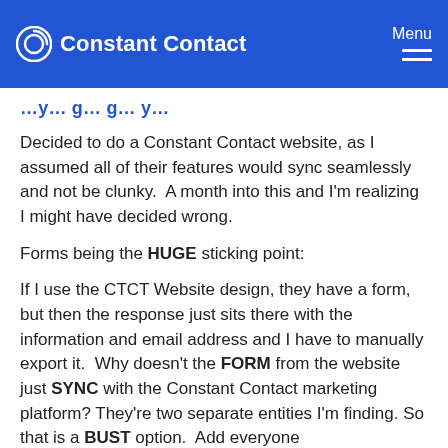Constant Contact — Menu
Decided to do a Constant Contact website, as I assumed all of their features would sync seamlessly and not be clunky.  A month into this and I'm realizing I might have decided wrong.
Forms being the HUGE sticking point:
If I use the CTCT Website design, they have a form, but then the response just sits there with the information and email address and I have to manually export it.  Why doesn’t the FORM from the website just SYNC with the Constant Contact marketing platform? They’re two separate entities I’m finding. So that is a BUST option.  Add everyone